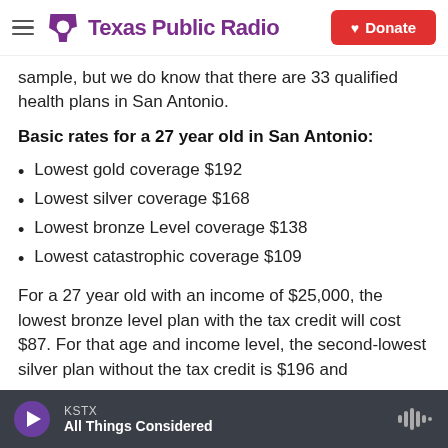Texas Public Radio | Donate
sample, but we do know that there are 33 qualified health plans in San Antonio.
Basic rates for a 27 year old in San Antonio:
Lowest gold coverage $192
Lowest silver coverage $168
Lowest bronze Level coverage $138
Lowest catastrophic coverage $109
For a 27 year old with an income of $25,000, the lowest bronze level plan with the tax credit will cost $87. For that age and income level, the second-lowest silver plan without the tax credit is $196 and
KSTX | All Things Considered